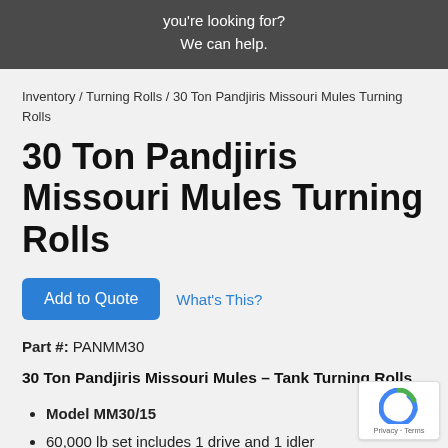you're looking for?
We can help.
Inventory / Turning Rolls / 30 Ton Pandjiris Missouri Mules Turning Rolls
30 Ton Pandjiris Missouri Mules Turning Rolls
Add to Quote   What's This?
Part #: PANMM30
30 Ton Pandjiris Missouri Mules – Tank Turning Rolls
Model MM30/15
60,000 lb set includes 1 drive and 1 idler
12" to 16' diameter capacity